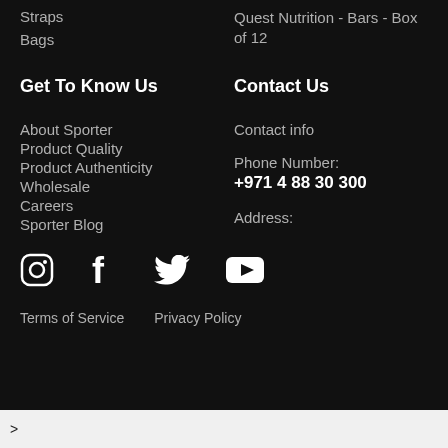Straps
Bags
Quest Nutrition - Bars - Box of 12
Get To Know Us
Contact Us
About Sporter
Contact info
Product Quality
Phone Number:
Product Authenticity
+971 4 88 30 300
Wholesale
Address:
Careers
Sporter Blog
[Figure (illustration): Social media icons: Instagram, Facebook, Twitter, YouTube]
Terms of Service   Privacy Policy
>